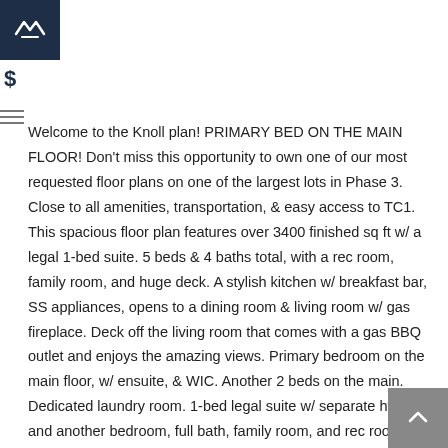Logo with diamond chevron icon and dollar sign
Welcome to the Knoll plan! PRIMARY BED ON THE MAIN FLOOR! Don't miss this opportunity to own one of our most requested floor plans on one of the largest lots in Phase 3. Close to all amenities, transportation, & easy access to TC1. This spacious floor plan features over 3400 finished sq ft w/ a legal 1-bed suite. 5 beds & 4 baths total, with a rec room, family room, and huge deck. A stylish kitchen w/ breakfast bar, SS appliances, opens to a dining room & living room w/ gas fireplace. Deck off the living room that comes with a gas BBQ outlet and enjoys the amazing views. Primary bedroom on the main floor, w/ ensuite, & WIC. Another 2 beds on the main. Dedicated laundry room. 1-bed legal suite w/ separate hydro and another bedroom, full bath, family room, and rec room for the main on lower. Efficient Natural Gas forced air furnace paired with A/C rough-in. These homes are Built Green